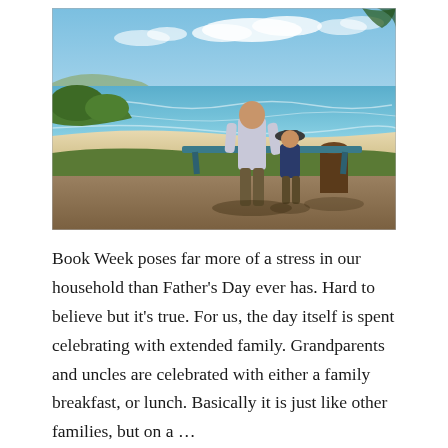[Figure (photo): Outdoor photo of an adult and a child standing near a picnic bench/table on a grassy overlook, viewed from behind, looking out toward a beach with ocean waves, blue sky with clouds, and coastal vegetation.]
Book Week poses far more of a stress in our household than Father's Day ever has. Hard to believe but it's true. For us, the day itself is spent celebrating with extended family. Grandparents and uncles are celebrated with either a family breakfast, or lunch. Basically it is just like other families, but on a …